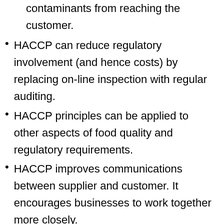contaminants from reaching the customer.
HACCP can reduce regulatory involvement (and hence costs) by replacing on-line inspection with regular auditing.
HACCP principles can be applied to other aspects of food quality and regulatory requirements.
HACCP improves communications between supplier and customer. It encourages businesses to work together more closely.
HACCP is capable of accommodating changes such as advances in raw materials, equipment and premise design, procedures, and technological developments.
It improves customer confidence leads to